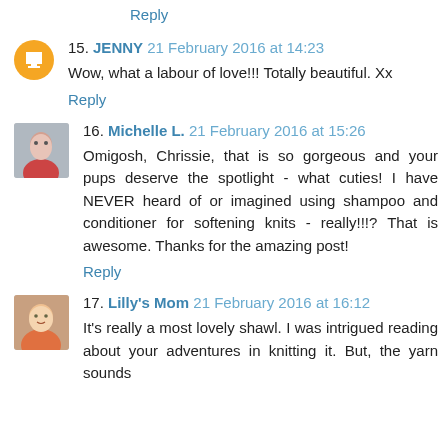Reply
15. JENNY 21 February 2016 at 14:23
Wow, what a labour of love!!! Totally beautiful. Xx
Reply
16. Michelle L. 21 February 2016 at 15:26
Omigosh, Chrissie, that is so gorgeous and your pups deserve the spotlight - what cuties! I have NEVER heard of or imagined using shampoo and conditioner for softening knits - really!!!? That is awesome. Thanks for the amazing post!
Reply
17. Lilly's Mom 21 February 2016 at 16:12
It's really a most lovely shawl. I was intrigued reading about your adventures in knitting it. But, the yarn sounds